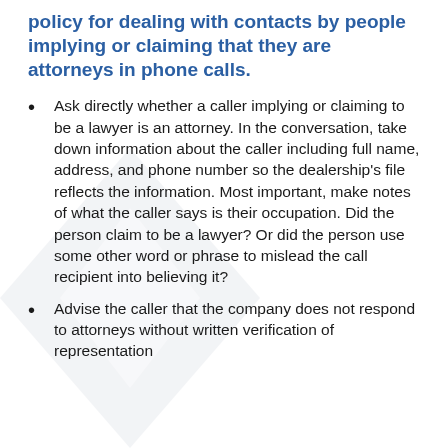policy for dealing with contacts by people implying or claiming that they are attorneys in phone calls.
Ask directly whether a caller implying or claiming to be a lawyer is an attorney. In the conversation, take down information about the caller including full name, address, and phone number so the dealership's file reflects the information. Most important, make notes of what the caller says is their occupation. Did the person claim to be a lawyer? Or did the person use some other word or phrase to mislead the call recipient into believing it?
Advise the caller that the company does not respond to attorneys without written verification of representation